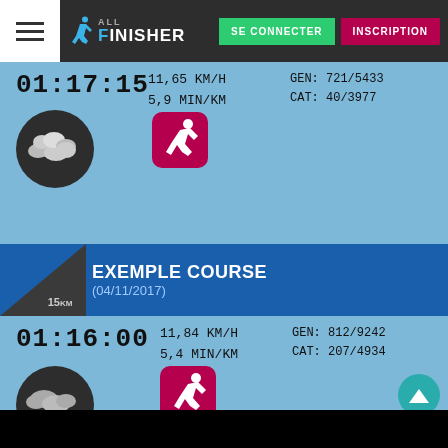SE CONNECTER | INSCRIPTION — All Finisher navigation bar
01:17:15  11,65 KM/H  5,9 MIN/KM  GEN: 721/5433  CAT: 40/3977
[Figure (infographic): Cloudy weather icon and running icon for first race entry]
EXEMPLE COURSE (04/11/2017) — 15km badge
01:16:00  11,84 KM/H  5,4 MIN/KM  GEN: 812/9242  CAT: 207/4934
[Figure (infographic): Rainy weather icon and running icon for second race entry]